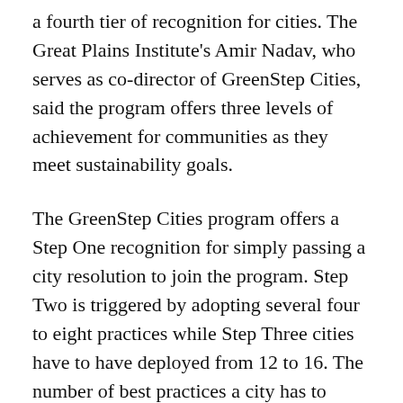a fourth tier of recognition for cities. The Great Plains Institute's Amir Nadav, who serves as co-director of GreenStep Cities, said the program offers three levels of achievement for communities as they meet sustainability goals.
The GreenStep Cities program offers a Step One recognition for simply passing a city resolution to join the program. Step Two is triggered by adopting several four to eight practices while Step Three cities have to have deployed from 12 to 16. The number of best practices a city has to complete depends on its population. The Minnesota League of Cities recognizes GreenStep Cities at its annual June conference.